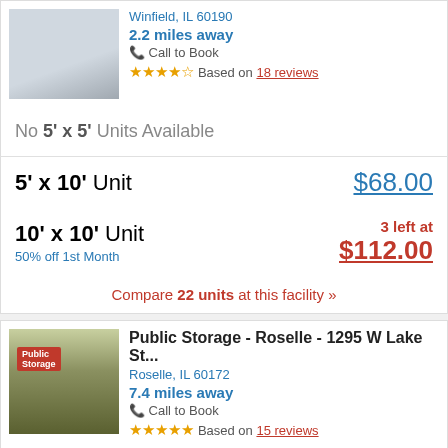Winfield, IL 60190
2.2 miles away
Call to Book
Based on 18 reviews
No 5' x 5' Units Available
| Unit | Price |
| --- | --- |
| 5' x 10' Unit | $68.00 |
| 10' x 10' Unit
50% off 1st Month | 3 left at
$112.00 |
Compare 22 units at this facility »
Public Storage - Roselle - 1295 W Lake St...
Roselle, IL 60172
7.4 miles away
Call to Book
Based on 15 reviews
5' x 5' Unit